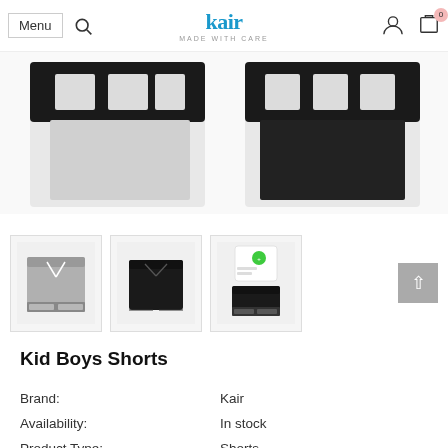Menu | Search | kair MADE WITH CARE | Account | Cart 0
[Figure (photo): Close-up banner photo of black kids shorts with large white block lettering, two items shown side by side on white background]
[Figure (photo): Thumbnail 1: Gray kids shorts with white drawstring and text print at the hem]
[Figure (photo): Thumbnail 2: Black kids shorts plain view]
[Figure (photo): Thumbnail 3: Black kids shorts paired with white graphic t-shirt]
Kid Boys Shorts
| Brand: | Kair |
| Availability: | In stock |
| Product Type: | Shorts |